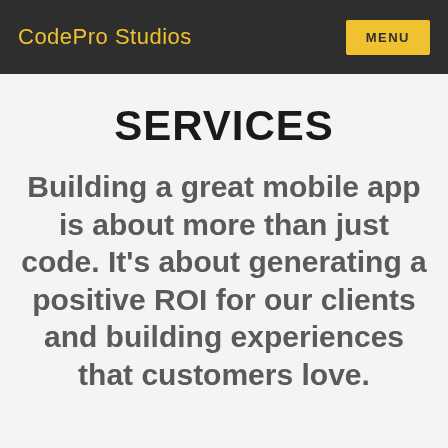CodePro Studios   MENU
SERVICES
Building a great mobile app is about more than just code. It's about generating a positive ROI for our clients and building experiences that customers love.